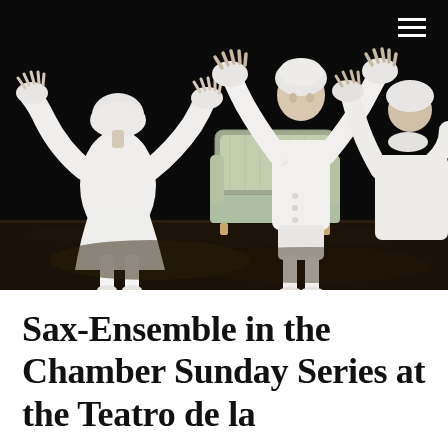[Figure (photo): Three performers on a dark stage dressed in all-white 18th-century costumes with powdered wigs. One performer with back to camera has arms outstretched, a central tall performer faces forward with both hands raised and fingers spread, and a third performer on the right also has hands raised. A blue and white ornate chaise lounge/sofa is visible in the background. The stage floor is wooden and the background is black.]
Sax-Ensemble in the Chamber Sunday Series at the Teatro de la